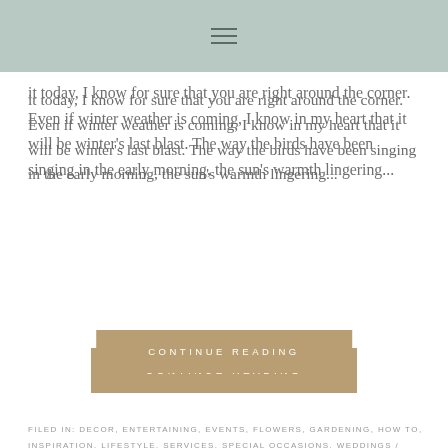≡
it today, I know for sure that you are right around the corner. Even if winter weather is coming, I know in my heart that it will be winter's last blast. The way the birds have been singing in the early morning, the sun's warmth lingering...
CONTINUE READING
FILED IN: DECOR, ENTERTAINING, EVENTS, FLOWERS, GARDENING, HOW TO, INSPIRATION, LIFESTYLE, SERVICES, SPECIAL OCCASIONS, WEDDINGS / TAGGED: 1ST DAY OF SPRING, CENTERPIECE 101, DECOR, DREAMERY EVENTS, ENTERTAINING, FLOWER ARRANGING, FLOWER CENTERPIECE DIY, FLOWERS, INSPIRATION, LIFESTYLE, SPECIAL OCCASIONS, SPRING, SPRING CENTERPIECE, SPRING DECOR, SPRING DIY, SPRING ENTERTAINING, SPRING FLOWERS